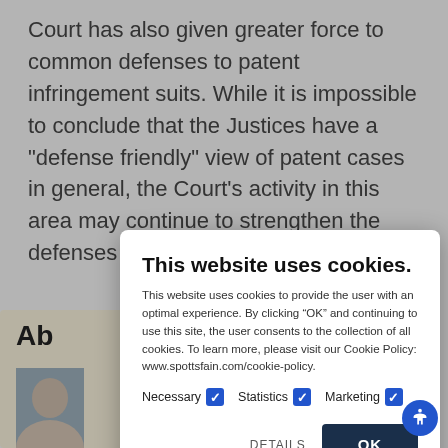Court has also given greater force to common defenses to patent infringement suits. While it is impossible to conclude that the Justices have a "defense friendly" view of patent cases in general, the Court's activity in this area may continue to strengthen the defenses of those fighting claims of infr...
This website uses cookies.
This website uses cookies to provide the user with an optimal experience. By clicking “OK” and continuing to use this site, the user consents to the collection of all cookies. To learn more, please visit our Cookie Policy: www.spottsfain.com/cookie-policy.
Necessary [checked] Statistics [checked] Marketing [checked]
DETAILS   OK